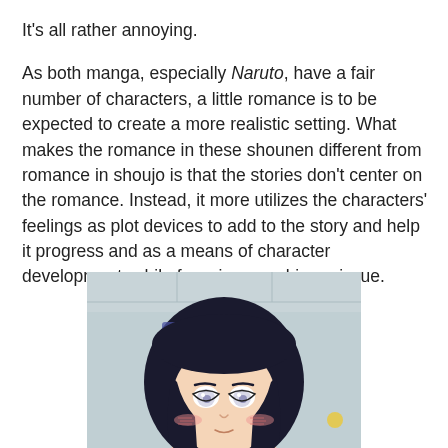It's all rather annoying.
As both manga, especially Naruto, have a fair number of characters, a little romance is to be expected to create a more realistic setting. What makes the romance in these shounen different from romance in shoujo is that the stories don't center on the romance. Instead, it more utilizes the characters' feelings as plot devices to add to the story and help it progress and as a means of character development, while focusing on a bigger issue.
[Figure (illustration): Anime illustration of a young female character (Hinata from Naruto) with dark blue-black hair with bangs, blushing cheeks, and pale lavender eyes, shown from the shoulders up against a light blue/grey background.]